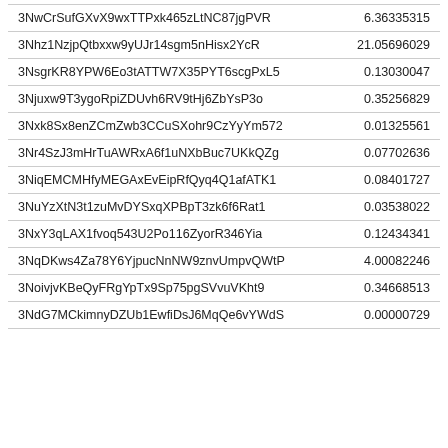| 3NwCrSufGXvX9wxTTPxk465zLtNC87jgPVR | 6.36335315 |
| 3Nhz1NzjpQtbxxw9yUJr14sgm5nHisx2YcR | 21.05696029 |
| 3NsgrKR8YPW6Eo3tATTW7X35PYT6scgPxL5 | 0.13030047 |
| 3Njuxw9T3ygoRpiZDUvh6RV9tHj6ZbYsP3o | 0.35256829 |
| 3Nxk8Sx8enZCmZwb3CCuSXohr9CzYyYm572 | 0.01325561 |
| 3Nr4SzJ3mHrTuAWRxA6f1uNXbBuc7UKkQZg | 0.07702636 |
| 3NiqEMCMHfyMEGAxEvEipRfQyq4Q1afATK1 | 0.08401727 |
| 3NuYzXtN3t1zuMvDYSxqXPBpT3zk6f6Rat1 | 0.03538022 |
| 3NxY3qLAX1fvoq543U2Po116ZyorR346Yia | 0.12434341 |
| 3NqDKws4Za78Y6YjpucNnNW9znvUmpvQWtP | 4.00082246 |
| 3NoivjvKBeQyFRgYpTx9Sp75pgSVvuVKht9 | 0.34668513 |
| 3NdG7MCkimnyDZUb1EwfiDsJ6MqQe6vYWdS | 0.00000729 |